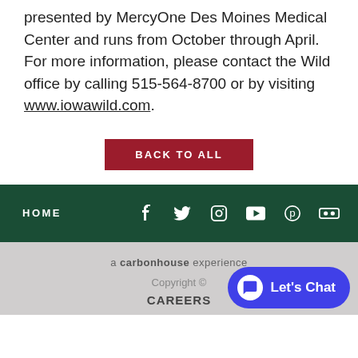presented by MercyOne Des Moines Medical Center and runs from October through April. For more information, please contact the Wild office by calling 515-564-8700 or by visiting www.iowawild.com.
BACK TO ALL
HOME | social icons: Facebook, Twitter, Instagram, YouTube, Pinterest, Flickr
a carbonhouse experience | Copyright © | CAREERS | Let's Chat